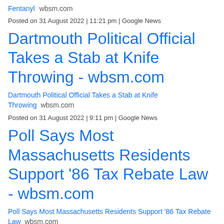Fentanyl  wbsm.com
Posted on 31 August 2022 | 11:21 pm | Google News
Dartmouth Political Official Takes a Stab at Knife Throwing - wbsm.com
Dartmouth Political Official Takes a Stab at Knife Throwing  wbsm.com
Posted on 31 August 2022 | 9:11 pm | Google News
Poll Says Most Massachusetts Residents Support '86 Tax Rebate Law - wbsm.com
Poll Says Most Massachusetts Residents Support '86 Tax Rebate Law  wbsm.com